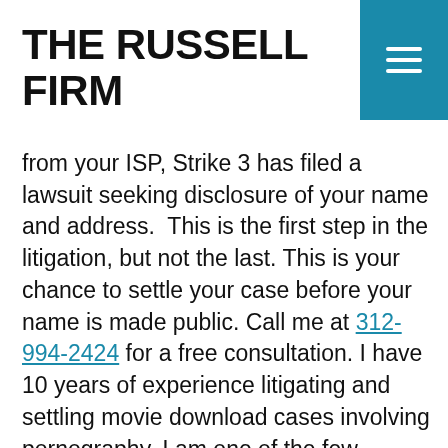THE RUSSELL FIRM
from your ISP, Strike 3 has filed a lawsuit seeking disclosure of your name and address.  This is the first step in the litigation, but not the last. This is your chance to settle your case before your name is made public. Call me at 312-994-2424 for a free consultation. I have 10 years of experience litigating and settling movie download cases involving pornography. I am one of the few attorneys in the country who has litigated one to conclusion. You can read about my success against Malibu Media, another pornography production house that files similar copyright infringement cases here.